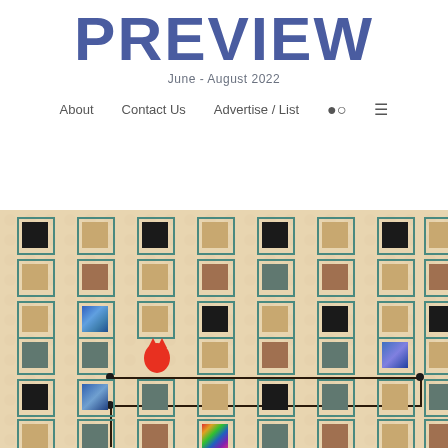PREVIEW
June - August 2022
About   Contact Us   Advertise / List
[Figure (illustration): Artwork showing a grid of colorful square tiles with teal corner brackets on a tan/beige textured background. One red cat-like figure visible, a rainbow iridescent tile, and dark connector lines forming a path across the grid.]